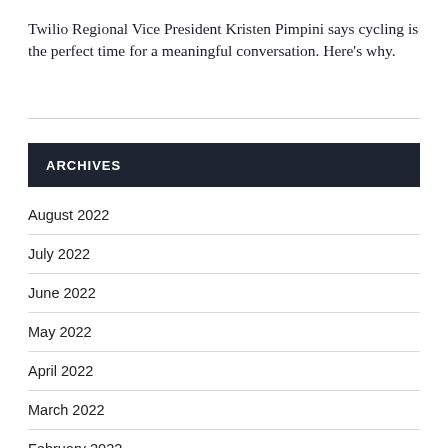Twilio Regional Vice President Kristen Pimpini says cycling is the perfect time for a meaningful conversation. Here's why.
ARCHIVES
August 2022
July 2022
June 2022
May 2022
April 2022
March 2022
February 2022
January 2022
December 2021